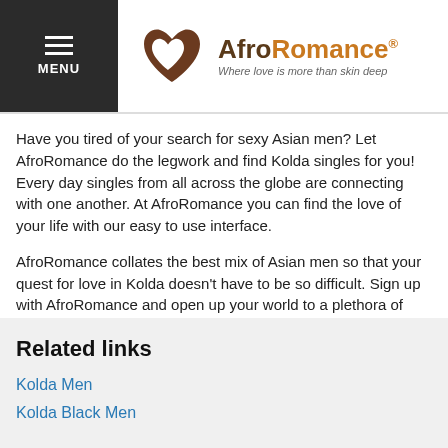MENU | AfroRomance® Where love is more than skin deep
Have you tired of your search for sexy Asian men? Let AfroRomance do the legwork and find Kolda singles for you! Every day singles from all across the globe are connecting with one another. At AfroRomance you can find the love of your life with our easy to use interface.
AfroRomance collates the best mix of Asian men so that your quest for love in Kolda doesn't have to be so difficult. Sign up with AfroRomance and open up your world to a plethora of dating opportunities. We assist singles from all across the globe to find true love, thanks to our fantastic online dating system and great database of members from all different ethnicities. Start browsing AfroRomance right away to find your ideal partner.
Related links
Kolda Men
Kolda Black Men